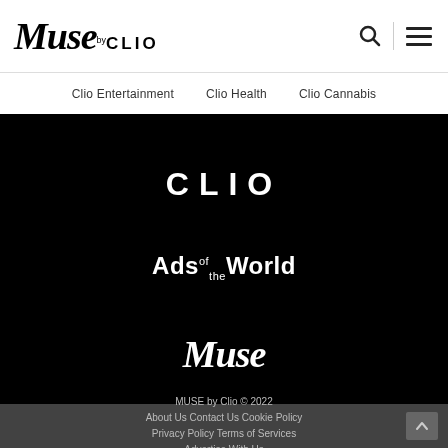Muse by CLIO
Clio Entertainment   Clio Health   Clio Cannabis
[Figure (logo): CLIO brand logo in white text on black background]
[Figure (logo): Ads of the World logo in white text on black background]
[Figure (logo): Muse script logo in white italic text on black background]
MUSE by Clio © 2022
About UsContact UsCookie Policy
Privacy PolicyTerms of Services
Advertise With Us